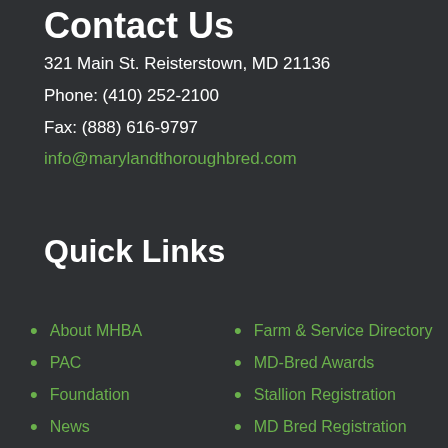Contact Us
321 Main St. Reisterstown, MD 21136
Phone: (410) 252-2100
Fax: (888) 616-9797
info@marylandthoroughbred.com
Quick Links
About MHBA
Farm & Service Directory
PAC
MD-Bred Awards
Foundation
Stallion Registration
News
MD Bred Registration